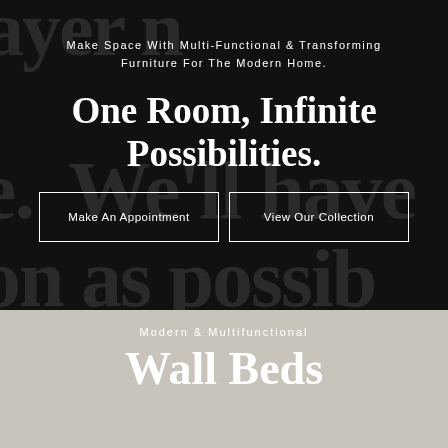Make Space With Multi-Functional & Transforming Furniture For The Modern Home.
One Room, Infinite Possibilities.
Make An Appointment
View Our Collection
Modern & Multifunctional
Wall Beds